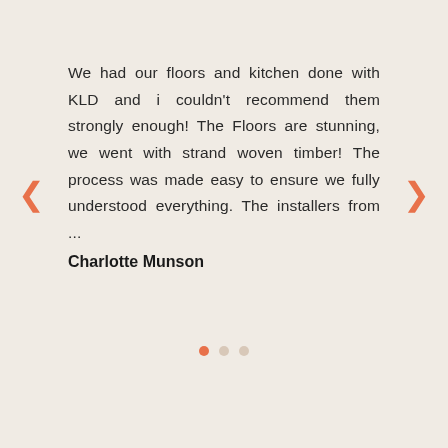We had our floors and kitchen done with KLD and i couldn't recommend them strongly enough! The Floors are stunning, we went with strand woven timber! The process was made easy to ensure we fully understood everything. The installers from ...
Charlotte Munson